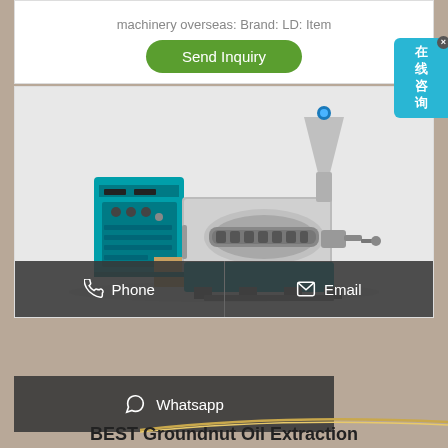machinery overseas: Brand: LD: Item
[Figure (other): Green 'Send Inquiry' button]
[Figure (illustration): Blue and silver groundnut oil extraction machine on light grey background]
[Figure (other): Contact bar with Phone and Email buttons]
[Figure (other): Whatsapp contact button]
[Figure (other): Chinese online chat bubble widget on right side (在线咨询)]
BEST Groundnut Oil Extraction